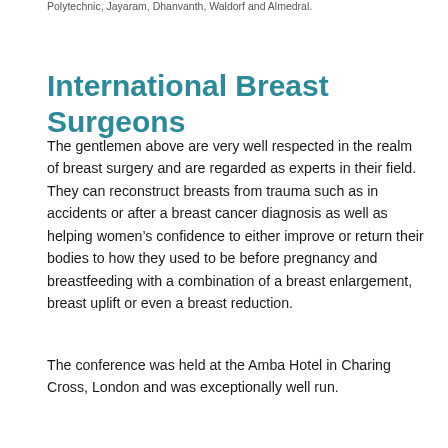Polytechnic, Jayaram, Dhanvanth, Waldorf and Almedral.
International Breast Surgeons
The gentlemen above are very well respected in the realm of breast surgery and are regarded as experts in their field.  They can reconstruct breasts from trauma such as in accidents or after a breast cancer diagnosis as well as helping women’s confidence to either improve or return their bodies to how they used to be before pregnancy and breastfeeding with a combination of a breast enlargement, breast uplift or even a breast reduction.
The conference was held at the Amba Hotel in Charing Cross, London and was exceptionally well run.